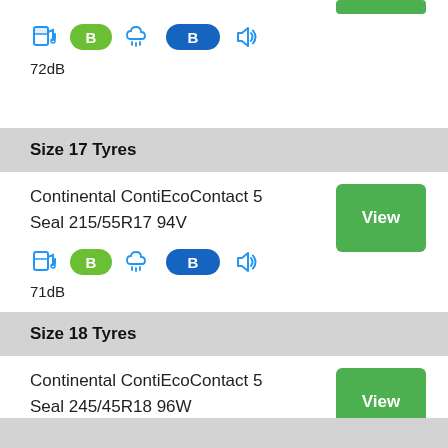72dB
Size 17 Tyres
Continental ContiEcoContact 5 Seal 215/55R17 94V
71dB
Size 18 Tyres
Continental ContiEcoContact 5 Seal 245/45R18 96W
71dB